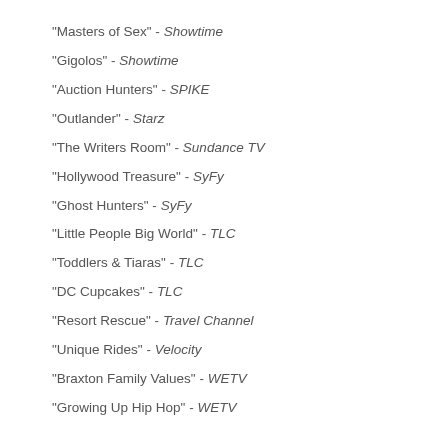"Masters of Sex" - Showtime
"Gigolos" - Showtime
"Auction Hunters" - SPIKE
"Outlander" - Starz
"The Writers Room" - Sundance TV
"Hollywood Treasure" - SyFy
"Ghost Hunters" - SyFy
"Little People Big World" - TLC
"Toddlers & Tiaras" - TLC
"DC Cupcakes" - TLC
"Resort Rescue" - Travel Channel
"Unique Rides" - Velocity
"Braxton Family Values" - WETV
"Growing Up Hip Hop" - WETV